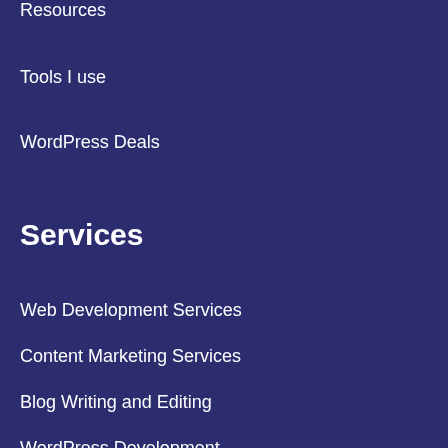Resources
Tools I use
WordPress Deals
Services
Web Development Services
Content Marketing Services
Blog Writing and Editing
WordPress Development
SEO Services
All services